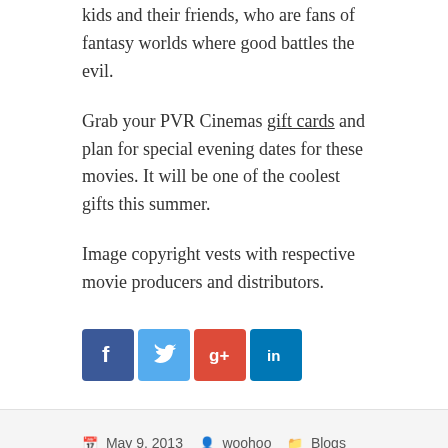kids and their friends, who are fans of fantasy worlds where good battles the evil.
Grab your PVR Cinemas gift cards and plan for special evening dates for these movies. It will be one of the coolest gifts this summer.
Image copyright vests with respective movie producers and distributors.
[Figure (infographic): Social media share icons: Facebook (blue), Twitter (light blue), Google+ (red), LinkedIn (dark blue)]
May 9, 2013  woohoo  Blogs  PVR Cinemas gift cards  Leave a comment
Nautanki Saala, Commando, Iron Man 3 and The Croods –